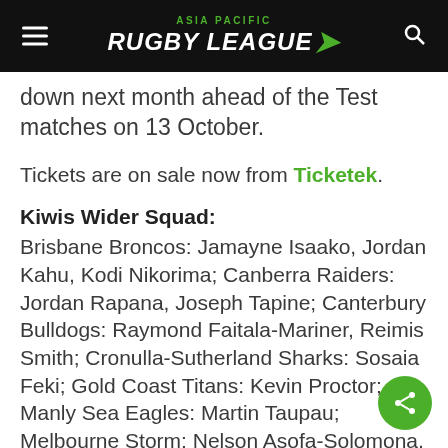ASIA PACIFIC RUGBY LEAGUE
down next month ahead of the Test matches on 13 October.
Tickets are on sale now from Ticketek.
Kiwis Wider Squad:
Brisbane Broncos: Jamayne Isaako, Jordan Kahu, Kodi Nikorima; Canberra Raiders: Jordan Rapana, Joseph Tapine; Canterbury Bulldogs: Raymond Faitala-Mariner, Reimis Smith; Cronulla-Sutherland Sharks: Sosaia Feki; Gold Coast Titans: Kevin Proctor; Manly Sea Eagles: Martin Taupau; Melbourne Storm: Nelson Asofa-Solomona, Jesse Bromwich, Kenneath Bromwich, Jahrome Hughes, Brandon Smith; Newcastle Knights: Herman Ese'ese, Danny Levi; North Queensland Cowboys: Te Maire Martin; Penrith Panthers: James Fisher-Harris, Corey Harawira-Naera, Dallin Watene-